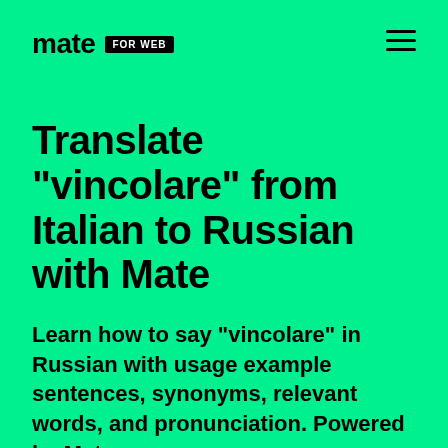mate FOR WEB
Translate "vincolare" from Italian to Russian with Mate
Learn how to say "vincolare" in Russian with usage example sentences, synonyms, relevant words, and pronunciation. Powered by Mate.